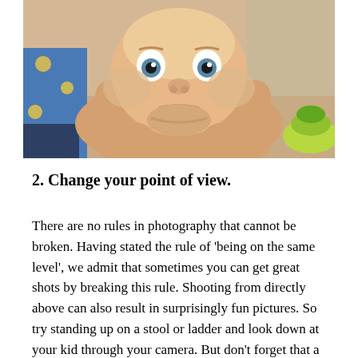[Figure (photo): A baby lying on its stomach looking up at the camera with wide eyes and a slightly disgruntled expression. Colorful toys and a blanket visible in the background.]
2. Change your point of view.
There are no rules in photography that cannot be broken. Having stated the rule of 'being on the same level', we admit that sometimes you can get great shots by breaking this rule. Shooting from directly above can also result in surprisingly fun pictures. So try standing up on a stool or ladder and look down at your kid through your camera. But don't forget that a child should look directly into the camera for that fun look (otherwise the only thing you will get is a photo of the photo will be the top of the